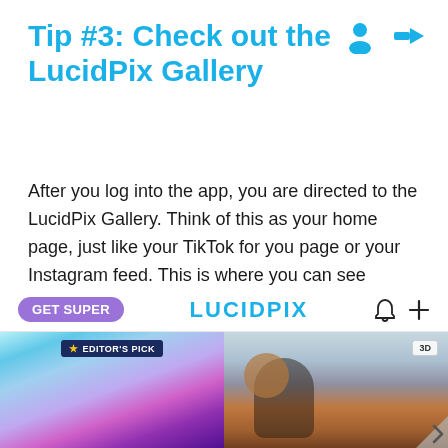[Figure (screenshot): Two user/login icons in blue at top right of page — a person silhouette icon and a login arrow icon]
Tip #3: Check out the LucidPix Gallery
After you log into the app, you are directed to the LucidPix Gallery. Think of this as your home page, just like your TikTok for you page or your Instagram feed. This is where you can see popular posts shared by other LucidPix users and people you follow, and where you can share your own 3D creations.
[Figure (screenshot): Screenshot of the LucidPix app showing a navigation bar with a purple 'GET SUPER' button, the LUCIDPIX logo in blue, a bell icon, and a plus icon. Below that are two photo thumbnails: left shows an abstract blue/purple swirl image with an 'EDITOR'S PICK' badge, right shows a person hugging a dog outdoors with a '3D' badge.]